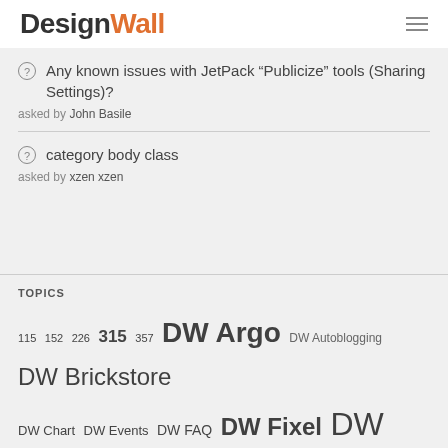DesignWall
Any known issues with JetPack “Publicize” tools (Sharing Settings)? asked by John Basile
category body class asked by xzen xzen
TOPICS
115 152 226 315 357 DW Argo DW Autoblogging DW Brickstore DW Chart DW Events DW FAQ DW Fixel DW Focus DW Form... DW Go... DW Sh...